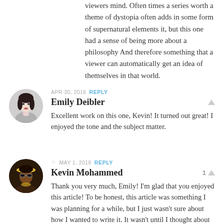viewers mind. Often times a series worth a theme of dystopia often adds in some form of supernatural elements it, but this one had a sense of being more about a philosophy And therefore something that a viewer can automatically get an idea of themselves in that world.
APR 30, 2016  REPLY
Emily Deibler
Excellent work on this one, Kevin! It turned out great! I enjoyed the tone and the subject matter.
☆ MAY 1, 2016  REPLY
Kevin Mohammed
Thank you very much, Emily! I'm glad that you enjoyed this article! To be honest, this article was something I was planning for a while, but I just wasn't sure about how I wanted to write it. It wasn't until I thought about the willingness for a person to survive in this world that I got an idea for the focus.